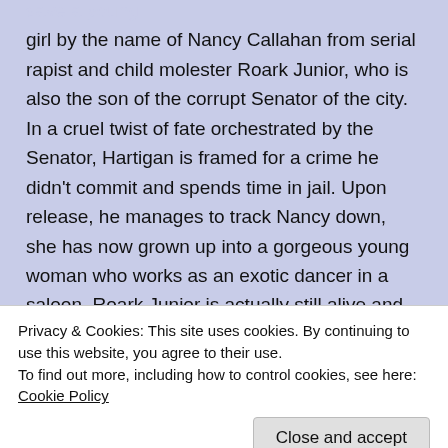save a young girl by the name of Nancy Callahan from serial rapist and child molester Roark Junior, who is also the son of the corrupt Senator of the city. In a cruel twist of fate orchestrated by the Senator, Hartigan is framed for a crime he didn't commit and spends time in jail. Upon release, he manages to track Nancy down, she has now grown up into a gorgeous young woman who works as an exotic dancer in a saloon. Roark Junior is actually still alive and comes after them and it is up to Hartigan to stop him before it is too late. The middle tale tells of Marv, a lonely man mountain who is slowly slipping into madness. One night, he has a passionate encounter with a hooker named Goldie. Marv falls
Privacy & Cookies: This site uses cookies. By continuing to use this website, you agree to their use.
To find out more, including how to control cookies, see here: Cookie Policy
then eats what remains of prostitutes. In the last of